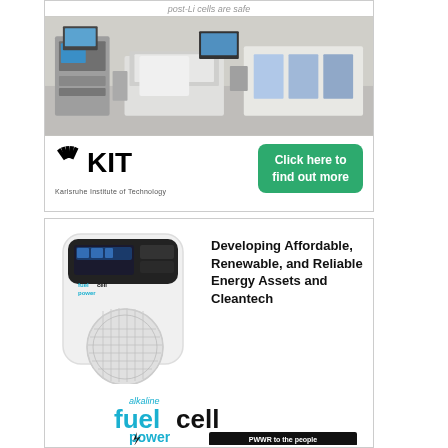post-Li cells are safe
[Figure (photo): Laboratory photo showing battery testing equipment, computers, and large white/grey test cells on benches in a research lab at Karlsruhe Institute of Technology.]
[Figure (logo): KIT logo with fan/sunburst rays - Karlsruhe Institute of Technology]
Click here to find out more
Karlsruhe Institute of Technology
[Figure (photo): White fuel cell power unit device with display screen and circular vent grille, branded 'fuelcell power']
Developing Affordable, Renewable, and Reliable Energy Assets and Cleantech
[Figure (logo): alkaline fuelcell power PWWR to the people logo in cyan/teal and black]
PWWR to the people